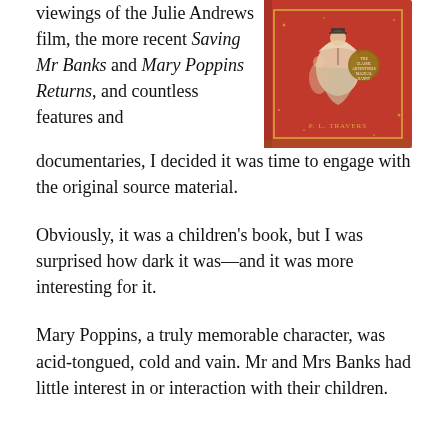viewings of the Julie Andrews film, the more recent Saving Mr Banks and Mary Poppins Returns, and countless features and documentaries, I decided it was time to engage with the original source material.
[Figure (photo): A red book cover with illustrated figures, titled with P.L. Travers author name, depicting a classic Mary Poppins story collection with gold decorative elements on a red background.]
Obviously, it was a children's book, but I was surprised how dark it was—and it was more interesting for it.
Mary Poppins, a truly memorable character, was acid-tongued, cold and vain. Mr and Mrs Banks had little interest in or interaction with their children.